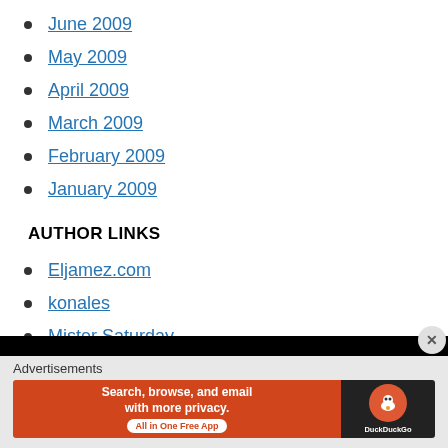June 2009
May 2009
April 2009
March 2009
February 2009
January 2009
AUTHOR LINKS
Eljamez.com
konales
Mister Saturday
Advertisements
[Figure (other): DuckDuckGo advertisement banner: Search, browse, and email with more privacy. All in One Free App]